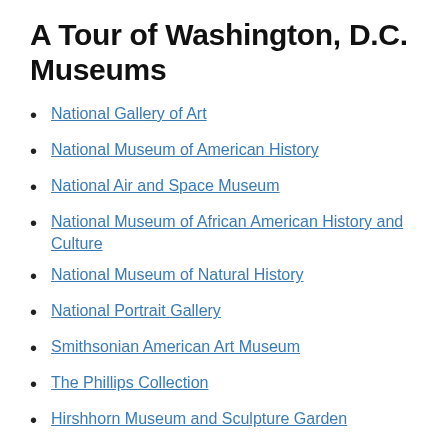A Tour of Washington, D.C. Museums
National Gallery of Art
National Museum of American History
National Air and Space Museum
National Museum of African American History and Culture
National Museum of Natural History
National Portrait Gallery
Smithsonian American Art Museum
The Phillips Collection
Hirshhorn Museum and Sculpture Garden
International Spy Museum